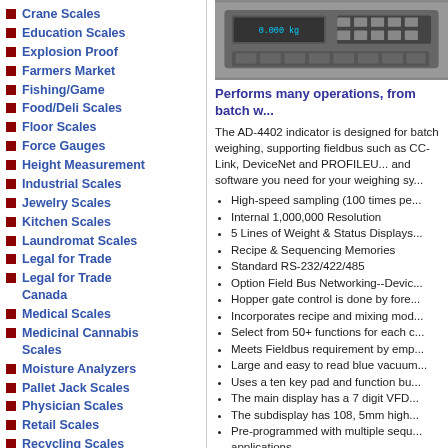Crane Scales
Education Scales
Explosion Proof
Farmers Market
Fishing/Game
Food/Deli Scales
Floor Scales
Force Gauges
Height Measurement
Industrial Scales
Jewelry Scales
Kitchen Scales
Laundromat Scales
Legal for Trade
Legal for Trade Canada
Medical Scales
Medicinal Cannabis Scales
Moisture Analyzers
Pallet Jack Scales
Physician Scales
Retail Scales
Recycling Scales
Specialty Medical
[Figure (photo): AD-4402 indicator device with keypad]
Performs many operations, from batch w...
The AD-4402 indicator is designed for batch weighing, supporting fieldbus such as CC-Link, DeviceNet and PROFIBUS. It provides all the hardware and software you need for your weighing system.
High-speed sampling (100 times per second)
Internal 1,000,000 Resolution
5 Lines of Weight & Status Displays
Recipe & Sequencing Memories
Standard RS-232/422/485
Option Field Bus Networking--DeviceNet...
Hopper gate control is done by fore...
Incorporates recipe and mixing mod...
Select from 50+ functions for each c...
Meets Fieldbus requirement by emp...
Large and easy to read blue vacuum...
Uses a ten key pad and function bu...
The main display has a 7 digit VFD...
The subdisplay has 108, 5mm high...
Pre-programmed with multiple sequences for applications
Stores 100 data for raw materials a...
RS-485 serial interface standard fe...